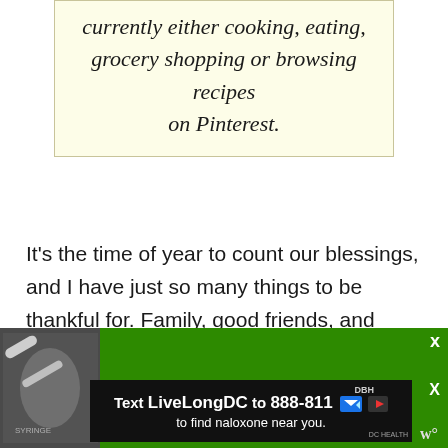currently either cooking, eating, grocery shopping or browsing recipes on Pinterest.
It's the time of year to count our blessings, and I have just so many things to be thankful for. Family, good friends, and delicious food all help to keep me warm when the weather gets chilly. I'm also thankful for the great community of Paleo food bloggers and their
[Figure (screenshot): Advertisement banner: green background with 'Download Your Free 4-Week Paleo' text, overlaid with a black bar 'Text LiveLongDC to 888-811 to find naloxone near you.' with close buttons and a logo.]